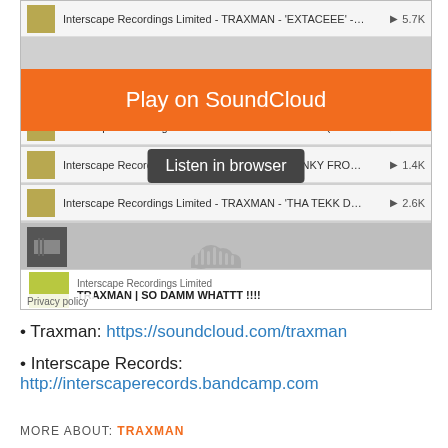[Figure (screenshot): SoundCloud embedded player screenshot showing a playlist of TRAXMAN tracks by Interscape Recordings Limited, with an orange 'Play on SoundCloud' button overlay, a 'Listen in browser' tooltip, a SoundCloud logo in the player area, and a now-playing bar at the bottom showing 'TRAXMAN | SO DAMM WHATTT !!!!' with a Privacy policy badge.]
• Traxman: https://soundcloud.com/traxman
• Interscape Records: http://interscaperecords.bandcamp.com
MORE ABOUT: TRAXMAN